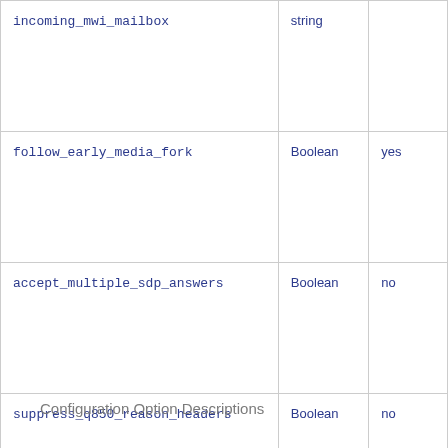| Name | Type | Default |
| --- | --- | --- |
| incoming_mwi_mailbox | string |  |
| follow_early_media_fork | Boolean | yes |
| accept_multiple_sdp_answers | Boolean | no |
| suppress_q850_reason_headers | Boolean | no |
Configuration Option Descriptions